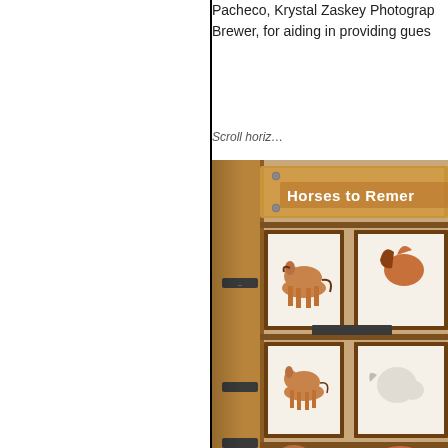Pacheco, Krystal Zaskey Photography, and Brewer, for aiding in providing gues...
Scroll horizo...
[Figure (photo): Photo of a museum display wall titled 'Horses to Remember' showing framed paintings/illustrations of horses arranged in a grid on a warm wooden panel wall. Multiple rows show horse portraits and full-body illustrations.]